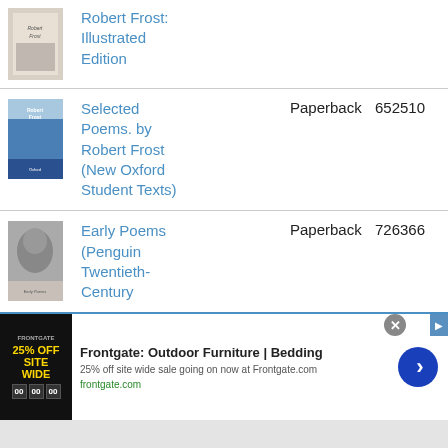[Figure (photo): Book cover thumbnail for Robert Frost: Illustrated Edition]
Robert Frost: Illustrated Edition
[Figure (photo): Book cover thumbnail for Selected Poems. by Robert Frost (New Oxford Student Texts)]
Selected Poems. by Robert Frost (New Oxford Student Texts)
Paperback
652510
[Figure (photo): Book cover thumbnail for Early Poems (Penguin Twentieth-Century)]
Early Poems (Penguin Twentieth-Century)
Paperback
726366
[Figure (screenshot): Advertisement for Frontgate: Outdoor Furniture | Bedding. 25% off site wide sale going on now at Frontgate.com. frontgate.com]